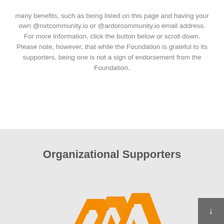many benefits, such as being listed on this page and having your own @nxtcommunity.io or @ardorcommunity.io email address. For more information, click the button below or scroll down. Please note, however, that while the Foundation is grateful to its supporters, being one is not a sign of endorsement from the Foundation.
Organizational Supporters
[Figure (logo): Orange logo with two overlapping angular/chevron shapes forming an abstract emblem, partially visible at bottom of page]